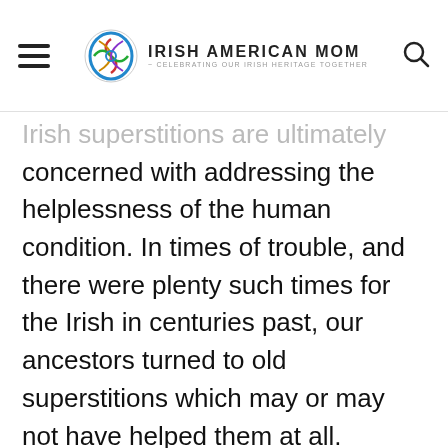Irish American Mom - Celebrating Our Irish Heritage Together
Irish superstitions are ultimately concerned with addressing the helplessness of the human condition. In times of trouble, and there were plenty such times for the Irish in centuries past, our ancestors turned to old superstitions which may or may not have helped them at all.